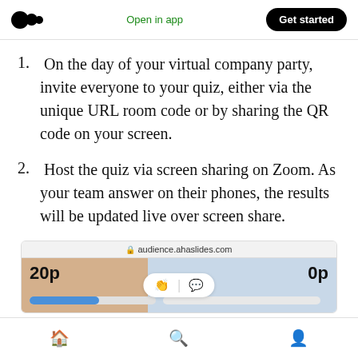Medium logo | Open in app | Get started
1. On the day of your virtual company party, invite everyone to your quiz, either via the unique URL room code or by sharing the QR code on your screen.
2. Host the quiz via screen sharing on Zoom. As your team answer on their phones, the results will be updated live over screen share.
[Figure (screenshot): Screenshot of AhaSlides app at audience.ahaslides.com showing a quiz interface with score 20p on left, 0p on right, a blue progress bar, and center applause/chat buttons.]